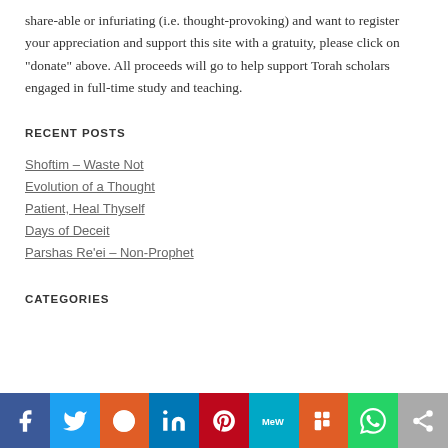share-able or infuriating (i.e. thought-provoking) and want to register your appreciation and support this site with a gratuity, please click on "donate" above. All proceeds will go to help support Torah scholars engaged in full-time study and teaching.
RECENT POSTS
Shoftim – Waste Not
Evolution of a Thought
Patient, Heal Thyself
Days of Deceit
Parshas Re'ei – Non-Prophet
CATEGORIES
[Figure (infographic): Social sharing bar with icons for Facebook, Twitter, Reddit, LinkedIn, Pinterest, MeWe, Mix, WhatsApp, and a share button]